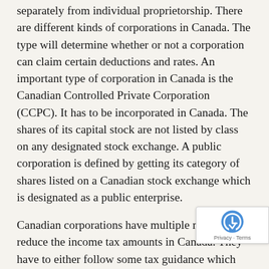separately from individual proprietorship. There are different kinds of corporations in Canada. The type will determine whether or not a corporation can claim certain deductions and rates. An important type of corporation in Canada is the Canadian Controlled Private Corporation (CCPC). It has to be incorporated in Canada. The shares of its capital stock are not listed by class on any designated stock exchange. A public corporation is defined by getting its category of shares listed on a Canadian stock exchange which is designated as a public enterprise.
Canadian corporations have multiple methods to reduce the income tax amounts in Canada. They have to either follow some tax guidance which will help earn them some tax credits or they will have to take advantage of income corporate tax credits.
As all corporations are distinct legal entities, they have to complete and file a T2 Form every year. This is applicable to all corporations operating in Toronto or other Canadian